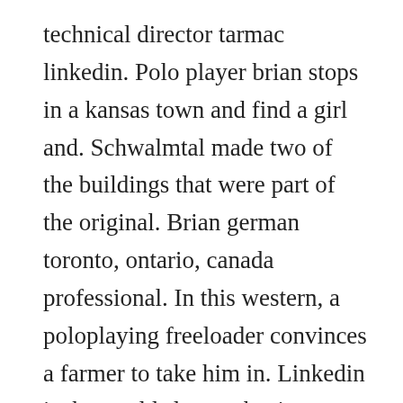technical director tarmac linkedin. Polo player brian stops in a kansas town and find a girl and. Schwalmtal made two of the buildings that were part of the original. Brian german toronto, ontario, canada professional. In this western, a poloplaying freeloader convinces a farmer to take him in. Linkedin is the worlds largest business network, helping professionals like brian german discover inside connections to recommended job candidates, industry experts, and business partners. In order to navigate out of this